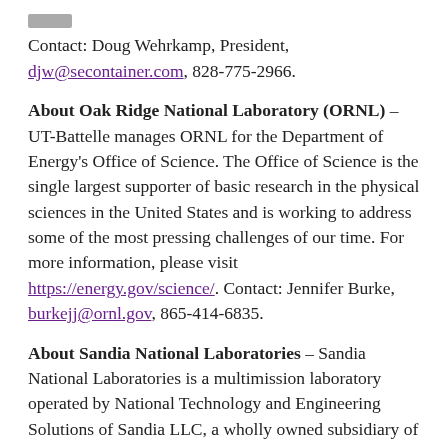Contact: Doug Wehrkamp, President, djw@secontainer.com, 828-775-2966.
About Oak Ridge National Laboratory (ORNL) – UT-Battelle manages ORNL for the Department of Energy's Office of Science. The Office of Science is the single largest supporter of basic research in the physical sciences in the United States and is working to address some of the most pressing challenges of our time. For more information, please visit https://energy.gov/science/. Contact: Jennifer Burke, burkejj@ornl.gov, 865-414-6835.
About Sandia National Laboratories – Sandia National Laboratories is a multimission laboratory operated by National Technology and Engineering Solutions of Sandia LLC, a wholly owned subsidiary of Honeywell International Inc., for the U.S. Department of Energy's National Nuclear Security Administration. Sandia Labs has major research and development responsibilities in nuclear deterrence,